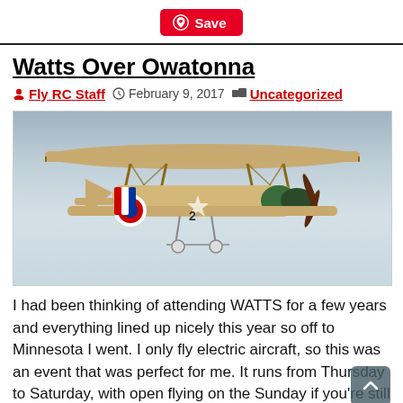Save
Watts Over Owatonna
Fly RC Staff   February 9, 2017   Uncategorized
[Figure (photo): A vintage biplane RC model aircraft in flight against a grey-blue sky. The plane has tan/beige fabric wings with wooden struts, a red-white-blue roundel on the fuselage, a star insignia, and the number 2 on the lower wing. It has a dark green engine cowl and a spinning propeller.]
I had been thinking of attending WATTS for a few years and everything lined up nicely this year so off to Minnesota I went. I only fly electric aircraft, so this was an event that was perfect for me. It runs from Thursday to Saturday, with open flying on the Sunday if you're still